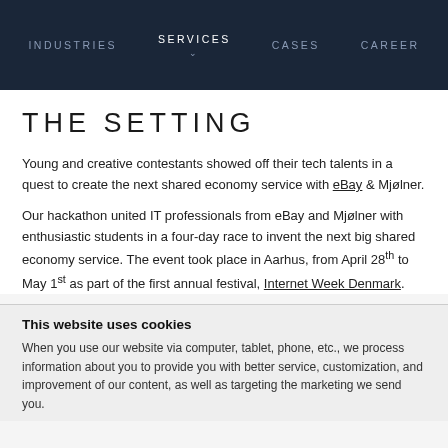INDUSTRIES  SERVICES  CASES  CAREER
THE SETTING
Young and creative contestants showed off their tech talents in a quest to create the next shared economy service with eBay & Mjølner.
Our hackathon united IT professionals from eBay and Mjølner with enthusiastic students in a four-day race to invent the next big shared economy service. The event took place in Aarhus, from April 28th to May 1st as part of the first annual festival, Internet Week Denmark.
This website uses cookies
When you use our website via computer, tablet, phone, etc., we process information about you to provide you with better service, customization, and improvement of our content, as well as targeting the marketing we send you.